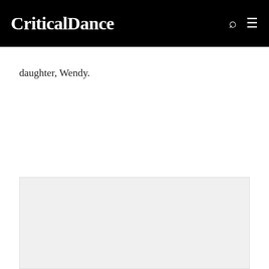CriticalDance
daughter, Wendy.
[Figure (photo): A large light gray image placeholder occupying the lower portion of the page]